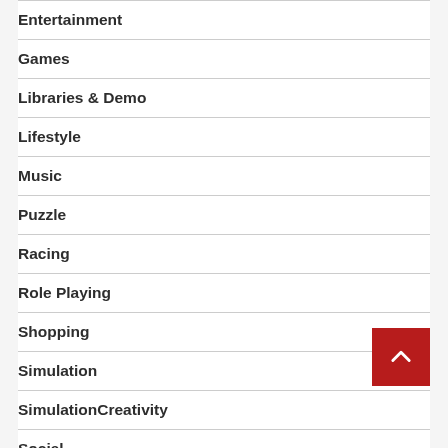Entertainment
Games
Libraries & Demo
Lifestyle
Music
Puzzle
Racing
Role Playing
Shopping
Simulation
SimulationCreativity
Social